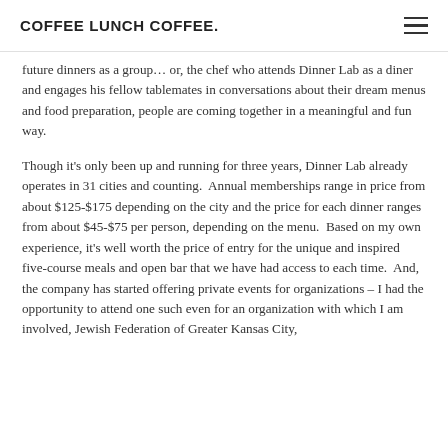COFFEE LUNCH COFFEE.
future dinners as a group… or, the chef who attends Dinner Lab as a diner and engages his fellow tablemates in conversations about their dream menus and food preparation, people are coming together in a meaningful and fun way.
Though it's only been up and running for three years, Dinner Lab already operates in 31 cities and counting. Annual memberships range in price from about $125-$175 depending on the city and the price for each dinner ranges from about $45-$75 per person, depending on the menu. Based on my own experience, it's well worth the price of entry for the unique and inspired five-course meals and open bar that we have had access to each time. And, the company has started offering private events for organizations – I had the opportunity to attend one such even for an organization with which I am involved, Jewish Federation of Greater Kansas City,